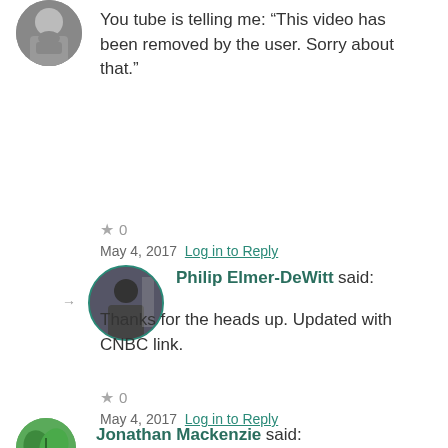[Figure (photo): User avatar photo, circular crop, man with beard, top of page]
You tube is telling me: “This video has been removed by the user. Sorry about that.”
★ 0
May 4, 2017 Log in to Reply
[Figure (photo): Philip Elmer-DeWitt avatar, circular with teal border, silhouette figure]
Philip Elmer-DeWitt said:
Thanks for the heads up. Updated with CNBC link.
★ 0
May 4, 2017 Log in to Reply
[Figure (photo): Jonathan Mackenzie avatar, green plant/leaf style icon]
Jonathan Mackenzie said: